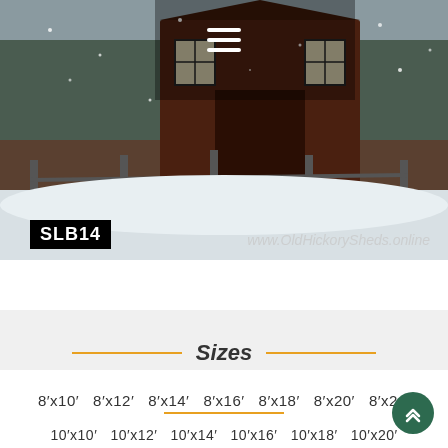[Figure (photo): Photograph of a dark brown wooden shed/barn in a snowy winter scene with a split-rail fence in the foreground and snow falling]
SLB14
www.OldHickorySheds.online
Sizes
8'x10'   8'x12'   8'x14'   8'x16'   8'x18'   8'x20'   8'x24'
10'x10'   10'x12'   10'x14'   10'x16'   10'x18'   10'x20'
10'x22'   10'x24'